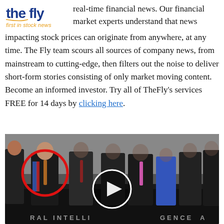[Figure (logo): TheFly logo with tagline 'first in stock news']
real-time financial news. Our financial market experts understand that news impacting stock prices can originate from anywhere, at any time. The Fly team scours all sources of company news, from mainstream to cutting-edge, then filters out the noise to deliver short-form stories consisting of only market moving content. Become an informed investor. Try all of TheFly's services FREE for 14 days by clicking here.
[Figure (photo): Group photo of people in suits standing in a CIA building lobby with a CIA seal on the floor. One person on the left is circled in red. A video play button is overlaid in the center.]